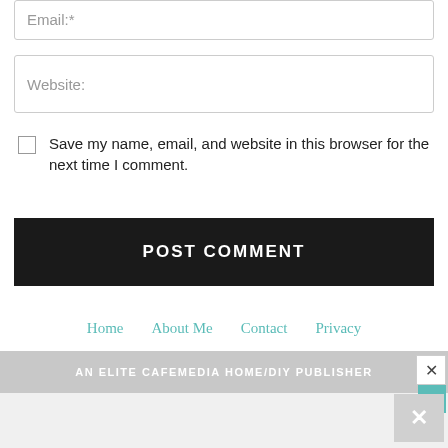Email:*
Website:
Save my name, email, and website in this browser for the next time I comment.
POST COMMENT
Home   About Me   Contact   Privacy
©Copyright 2008-2021 The Craft Patch LLC
AN ELITE CAFEMEDIA HOME/DIY PUBLISHER